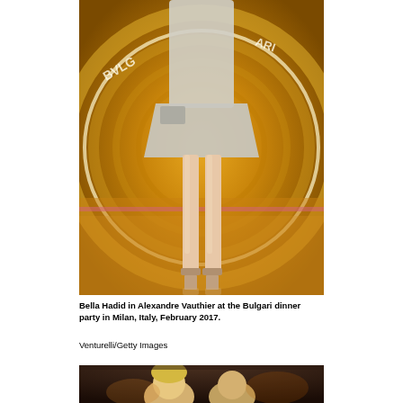[Figure (photo): Bella Hadid standing in front of a gold Bulgari branded backdrop, wearing a silver/grey short dress and holding a clutch bag, full body shot from mid-torso down to feet]
Bella Hadid in Alexandre Vauthier at the Bulgari dinner party in Milan, Italy, February 2017.
Venturelli/Getty Images
[Figure (photo): Partial view of people at a dark indoor event, bottom portion of image showing heads/shoulders]